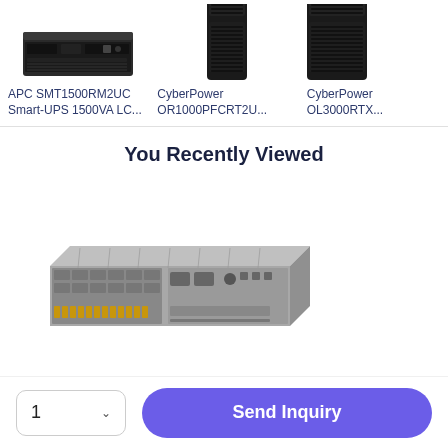[Figure (photo): APC SMT1500RM2UC rack-mount UPS device, partial top view]
APC SMT1500RM2UC Smart-UPS 1500VA LC...
[Figure (photo): CyberPower OR1000PFCRT2U tower/rack UPS, black enclosure]
CyberPower OR1000PFCRT2U...
[Figure (photo): CyberPower OL3000RTX partial view]
CyberPower OL3000RTX...
You Recently Viewed
[Figure (photo): Supermicro 2U rack server chassis, front view showing drive bays and motherboard]
1
Send Inquiry